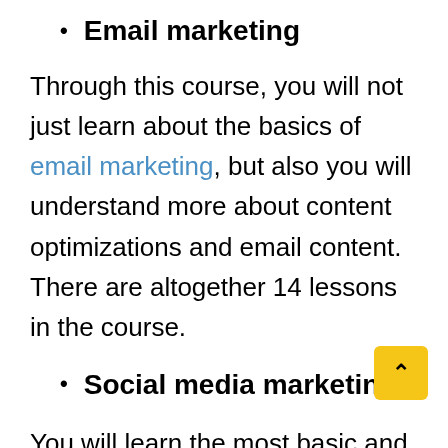Email marketing
Through this course, you will not just learn about the basics of email marketing, but also you will understand more about content optimizations and email content. There are altogether 14 lessons in the course.
Social media marketing
You will learn the most basic and advanced